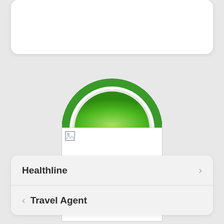[Figure (logo): Partial white rounded card at the top of the screen, showing only the bottom portion of a card UI element]
[Figure (logo): Green semicircle logo with two arched green stripes above it, resembling a stylized hill or dome shape — partially overlapping a white bordered image placeholder box]
Healthline
Travel Agent